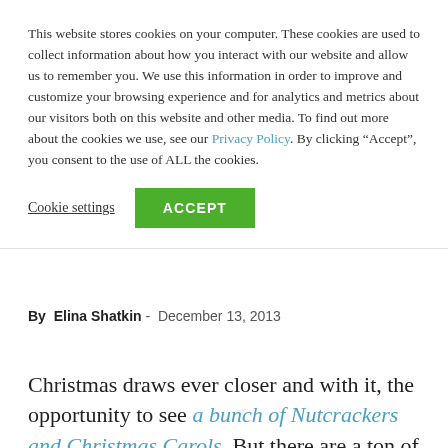This website stores cookies on your computer. These cookies are used to collect information about how you interact with our website and allow us to remember you. We use this information in order to improve and customize your browsing experience and for analytics and metrics about our visitors both on this website and other media. To find out more about the cookies we use, see our Privacy Policy. By clicking “Accept”, you consent to the use of ALL the cookies.
Cookie settings | ACCEPT
By Elina Shatkin - December 13, 2013
Christmas draws ever closer and with it, the opportunity to see a bunch of Nutcrackers and Christmas Carols. But there are a ton of other events too, from photography exhibitions to puppets, oddball movie